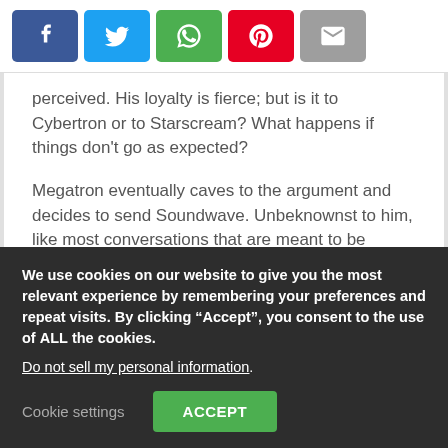[Figure (other): Social share buttons row: Facebook (blue), Twitter (light blue), WhatsApp (green), Pinterest (red), Email (grey)]
perceived. His loyalty is fierce; but is it to Cybertron or to Starscream? What happens if things don’t go as expected?
Megatron eventually caves to the argument and decides to send Soundwave. Unbeknownst to him, like most conversations that are meant to be private, Starscream heard everything.
We use cookies on our website to give you the most relevant experience by remembering your preferences and repeat visits. By clicking “Accept”, you consent to the use of ALL the cookies.
Do not sell my personal information.